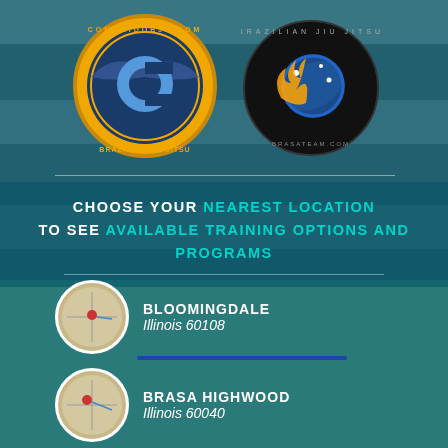[Figure (logo): Comprido BJJ circular logo with eagle, gold ring, blue background, text COMPRIDOBJJ.COM and BRAZILIAN JIU JITSU]
[Figure (logo): Brasa Brazilian Jiu Jitsu circular logo with planet/ball and flame design, dark background, BRASATEAM.COM]
CHOOSE YOUR NEAREST LOCATION TO SEE AVAILABLE TRAINING OPTIONS AND PROGRAMS
BLOOMINGDALE
Illinois 60108
BRASA HIGHWOOD
Illinois 60040
Acquire the Skills to Succeed On and Off the Mat with Teen Jiu Jitsu
Are you looking for a way to motivate your teen to be the best they can be? At Comprido BJJ and Brasa Highwood, we know that our Teen Jiu Jitsu classes